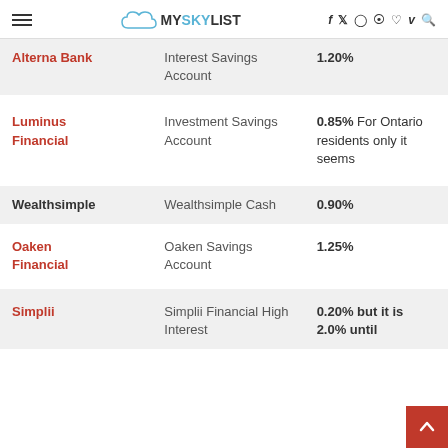MYSKYLIST navigation header with social icons
| Bank | Account | Rate |
| --- | --- | --- |
| Alterna Bank | Interest Savings Account | 1.20% |
| Luminus Financial | Investment Savings Account | 0.85% For Ontario residents only it seems |
| Wealthsimple | Wealthsimple Cash | 0.90% |
| Oaken Financial | Oaken Savings Account | 1.25% |
| Simplii | Simplii Financial High Interest | 0.20% but it is 2.0% until |